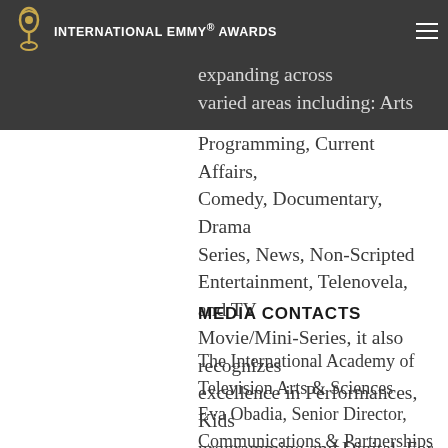INTERNATIONAL EMMY® AWARDS
prestigious Emmy® Award. Currently expanding across varied areas including: Arts Programming, Current Affairs, Comedy, Documentary, Drama Series, News, Non-Scripted Entertainment, Telenovela, and TV Movie/Mini-Series, it also recognizes excellence in Performances, Kids programming and Digital. For more information, go to www.iemmys.tv
MEDIA CONTACTS
The International Academy of Television Arts & Sciences
Eva Obadia, Senior Director, Communications & Partnerships
Cell: +1-646-334-9299
eva.obadia@6058809c5b5d5.iemmys.tv